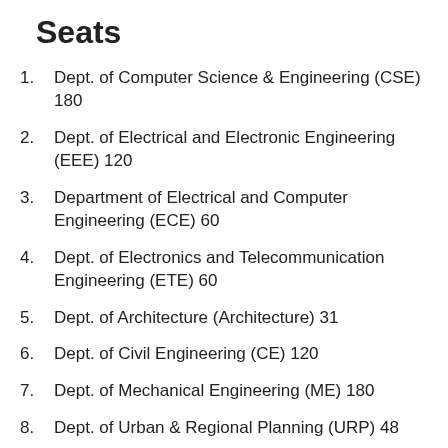Seats
Dept. of Computer Science & Engineering (CSE) 180
Dept. of Electrical and Electronic Engineering (EEE) 120
Department of Electrical and Computer Engineering (ECE) 60
Dept. of Electronics and Telecommunication Engineering (ETE) 60
Dept. of Architecture (Architecture) 31
Dept. of Civil Engineering (CE) 120
Dept. of Mechanical Engineering (ME) 180
Dept. of Urban & Regional Planning (URP) 48
Dept of Building Engineering & Construction Management (BECM) 30